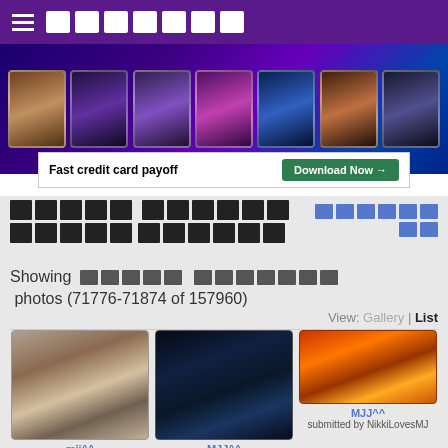≡ [site title boxes]
[Figure (photo): Banner with multiple photos of Michael Jackson across different eras, with 'THE [CLUB NAME] CLUB' text overlay]
[Figure (screenshot): Advertisement banner: 'Fast credit card payoff' with 'Download Now →' green button]
[Page title in non-latin script] [back link in non-latin script]
Showing [name] photos (71776-71874 of 157960)
View: Gallery | List
[Figure (photo): Black and white photo of Michael Jackson smiling]
mjj^^
submitted by NikkiLovesMJ
[Figure (photo): Dark concert photo of Michael Jackson performing on stage]
MJJ^^
submitted by NikkiLovesMJ
[Figure (photo): Warm-toned photo of two people, one playing guitar]
MJJ^^
submitted by NikkiLovesMJ